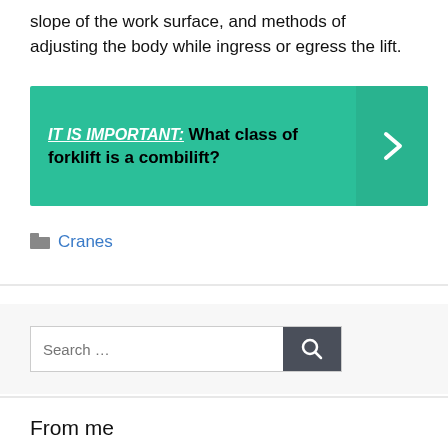slope of the work surface, and methods of adjusting the body while ingress or egress the lift.
[Figure (infographic): Teal/green callout box with bold italic underlined label 'IT IS IMPORTANT:' followed by bold question text 'What class of forklift is a combilift?' and a right-arrow chevron on the right side in a darker teal panel.]
Cranes
Search ...
From me